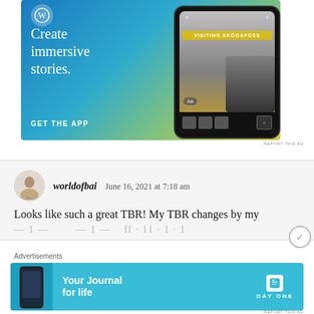[Figure (illustration): WordPress advertisement banner with blue-to-yellow gradient background, WordPress logo, text 'Create immersive stories.' and 'GET THE APP', with a phone mockup showing 'VISITING SKOGAFOSS' story.]
REPORT THIS AD
worldofbai   June 16, 2021 at 7:18 am
Looks like such a great TBR! My TBR changes by my
Advertisements
[Figure (screenshot): Day One app advertisement banner with blue background, phone image, text 'Your Journal for life' and Day One logo.]